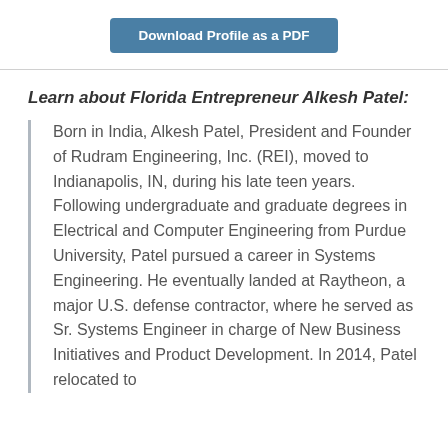[Figure (other): Download Profile as a PDF button (blue rounded rectangle)]
Learn about Florida Entrepreneur Alkesh Patel:
Born in India, Alkesh Patel, President and Founder of Rudram Engineering, Inc. (REI), moved to Indianapolis, IN, during his late teen years. Following undergraduate and graduate degrees in Electrical and Computer Engineering from Purdue University, Patel pursued a career in Systems Engineering. He eventually landed at Raytheon, a major U.S. defense contractor, where he served as Sr. Systems Engineer in charge of New Business Initiatives and Product Development. In 2014, Patel relocated to